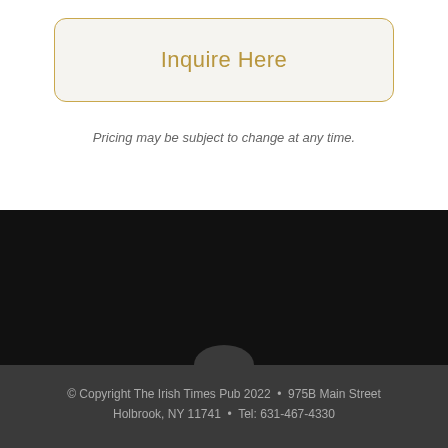Inquire Here
Pricing may be subject to change at any time.
© Copyright The Irish Times Pub 2022  •   975B Main Street Holbrook, NY 11741  •  Tel: 631-467-4330